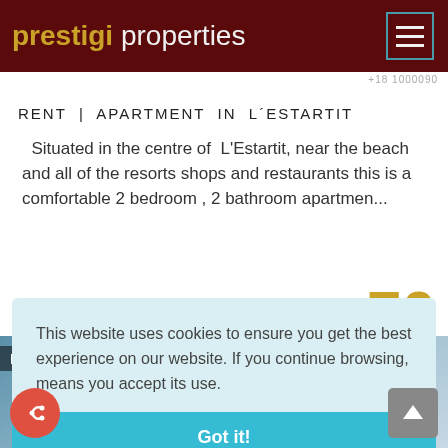prestigi properties
RENT  |  APARTMENT IN  L´ESTARTIT
Situated in the centre of L'Estartit, near the beach and all of the resorts shops and restaurants this is a comfortable 2 bedroom , 2 bathroom apartmen...
FROM 70
This website uses cookies to ensure you get the best experience on our website. If you continue browsing, means you accept its use.
Got it!
[Figure (photo): Partial photo strip showing building/street scene of L'Estartit, with label 'Es' visible]